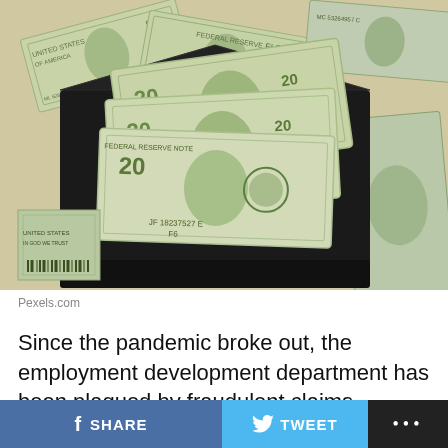[Figure (photo): Photo of US dollar bills scattered on a surface with a black envelope containing $20 bills in the foreground. Source: Pexels.com]
Pexels.com
Since the pandemic broke out, the employment development department has been plagued by fraudulent claims, especially in unemployment benefits. Researches
SHARE
TWEET